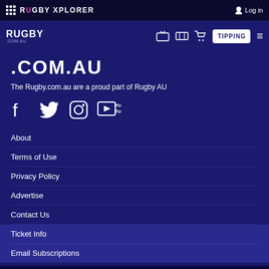RUGBY XPLORER | Log in
[Figure (screenshot): Rugby.com.au navigation bar with TV, ticket, cart icons, TIPPING button and hamburger menu]
.COM.AU
The Rugby.com.au are a proud part of Rugby AU
[Figure (infographic): Social media icons: Facebook, Twitter, Instagram, YouTube]
About
Terms of Use
Privacy Policy
Advertise
Contact Us
Ticket Info
Email Subscriptions
© 2021 Australian Rugby. All rights reserved.